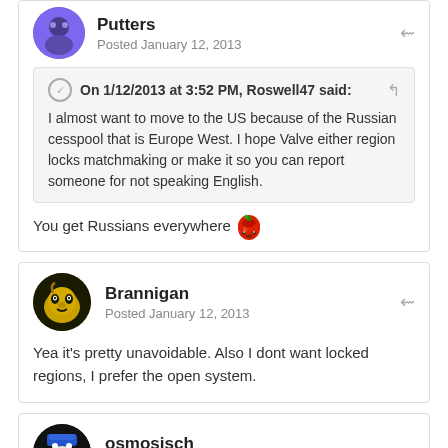Putters
Posted January 12, 2013
On 1/12/2013 at 3:52 PM, Roswell47 said:
I almost want to move to the US because of the Russian cesspool that is Europe West. I hope Valve either region locks matchmaking or make it so you can report someone for not speaking English.
You get Russians everywhere 🍅
Brannigan
Posted January 12, 2013
Yea it's pretty unavoidable. Also I dont want locked regions, I prefer the open system.
osmosisch
Posted January 12, 2013